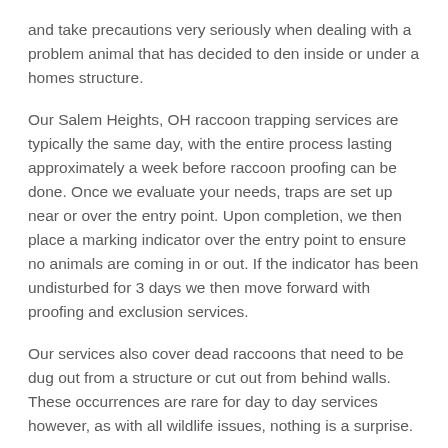and take precautions very seriously when dealing with a problem animal that has decided to den inside or under a homes structure.
Our Salem Heights, OH raccoon trapping services are typically the same day, with the entire process lasting approximately a week before raccoon proofing can be done. Once we evaluate your needs, traps are set up near or over the entry point. Upon completion, we then place a marking indicator over the entry point to ensure no animals are coming in or out. If the indicator has been undisturbed for 3 days we then move forward with proofing and exclusion services.
Our services also cover dead raccoons that need to be dug out from a structure or cut out from behind walls. These occurrences are rare for day to day services however, as with all wildlife issues, nothing is a surprise.